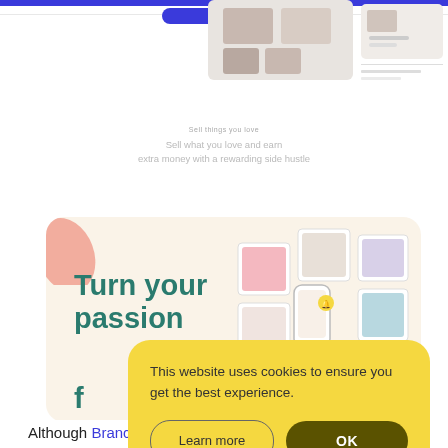[Figure (screenshot): Partial screenshot of a website with blue nav bar, a blue button, and images of framed photos top right, faded text in center reading 'Sell what you love and earn extra money with a rewarding side hustle']
[Figure (screenshot): Beige card section showing 'Turn your passion' text in teal color with a photo grid of framed pictures on the right, pink leaf decoration top left, teal leaf decoration bottom right]
This website uses cookies to ensure you get the best experience.
Learn more
OK
Although Branchbob isn't as well known as many of